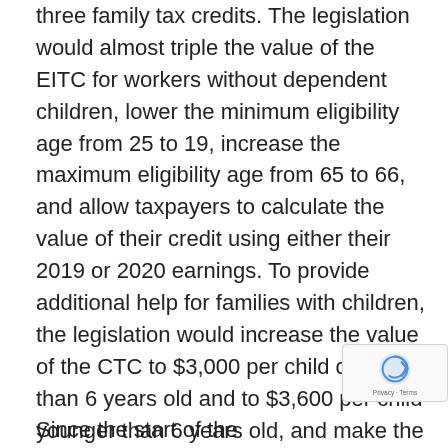three family tax credits. The legislation would almost triple the value of the EITC for workers without dependent children, lower the minimum eligibility age from 25 to 19, increase the maximum eligibility age from 65 to 66, and allow taxpayers to calculate the value of their credit using either their 2019 or 2020 earnings. To provide additional help for families with children, the legislation would increase the value of the CTC to $3,000 per child older than 6 years old and to $3,600 per child younger than 6 years old, and make the credit fully refundable. Lastly, the legislation would make the CDCTC fully refundable and increase the maximum credit from $3,000 to $6,000.
Since the start of the coronavirus pandemic, i…